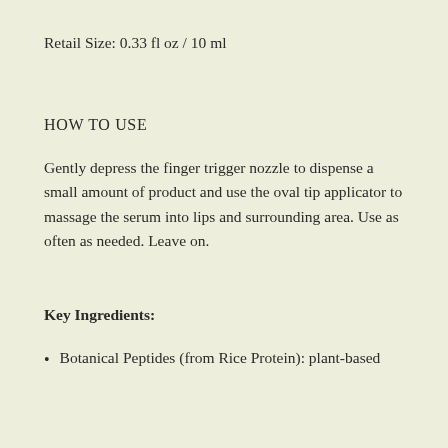Retail Size: 0.33 fl oz / 10 ml
HOW TO USE
Gently depress the finger trigger nozzle to dispense a small amount of product and use the oval tip applicator to massage the serum into lips and surrounding area. Use as often as needed. Leave on.
Key Ingredients:
Botanical Peptides (from Rice Protein): plant-based